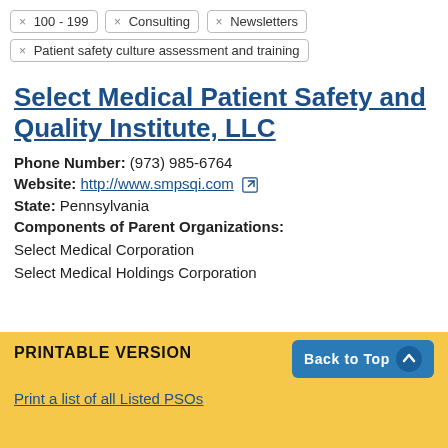× 100 - 199
× Consulting
× Newsletters
× Patient safety culture assessment and training
Select Medical Patient Safety and Quality Institute, LLC
Phone Number: (973) 985-6764
Website: http://www.smpsqi.com
State: Pennsylvania
Components of Parent Organizations:
Select Medical Corporation
Select Medical Holdings Corporation
PRINTABLE VERSION
Print a list of all Listed PSOs